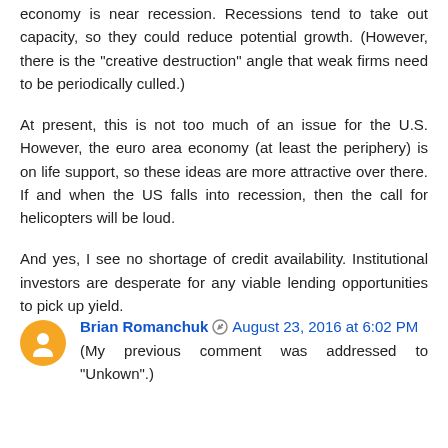economy is near recession. Recessions tend to take out capacity, so they could reduce potential growth. (However, there is the "creative destruction" angle that weak firms need to be periodically culled.)
At present, this is not too much of an issue for the U.S. However, the euro area economy (at least the periphery) is on life support, so these ideas are more attractive over there. If and when the US falls into recession, then the call for helicopters will be loud.
And yes, I see no shortage of credit availability. Institutional investors are desperate for any viable lending opportunities to pick up yield.
Brian Romanchuk  August 23, 2016 at 6:02 PM
(My previous comment was addressed to "Unkown".)